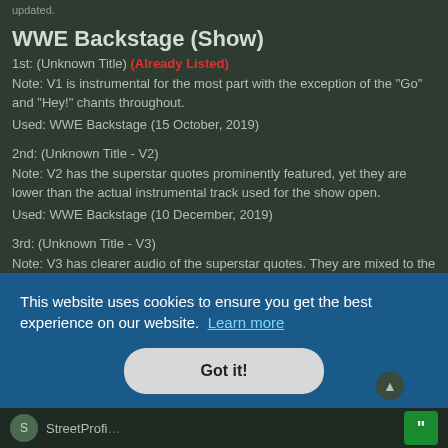updated.
WWE Backstage (Show)
1st: (Unknown Title) (Already Listed)
Note: V1 is instrumental for the most part with the exception of the "Go" and "Hey!" chants throughout.
Used: WWE Backstage (15 October, 2019)
2nd: (Unknown Title - V2)
Note: V2 has the superstar quotes prominently featured, yet they are lower than the actual instrumental track used for the show open.
Used: WWE Backstage (10 December, 2019)
3rd: (Unknown Title - V3)
Note: V3 has clearer audio of the superstar quotes. They are mixed to the same volume or so as the instrumental so that they are audible.
Used: WWE Backstage (17 December, 2019)
I will provide proof of these updates and upload them to YouTube or Streamable once I have done so. For the time being they can be listed without.
This website uses cookies to ensure you get the best experience on our website. Learn more
Got it!
StreetProfits